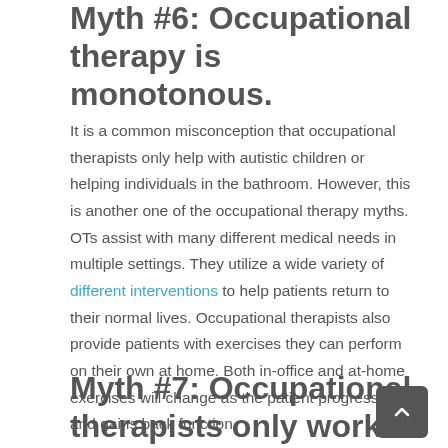Myth #6: Occupational therapy is monotonous.
It is a common misconception that occupational therapists only help with autistic children or helping individuals in the bathroom. However, this is another one of the occupational therapy myths. OTs assist with many different medical needs in multiple settings. They utilize a wide variety of different interventions to help patients return to their normal lives. Occupational therapists also provide patients with exercises they can perform on their own at home. Both in-office and at-home exercises will change as the patient progresses and gains back function.
Myth #7: Occupational therapists only work at hospitals.